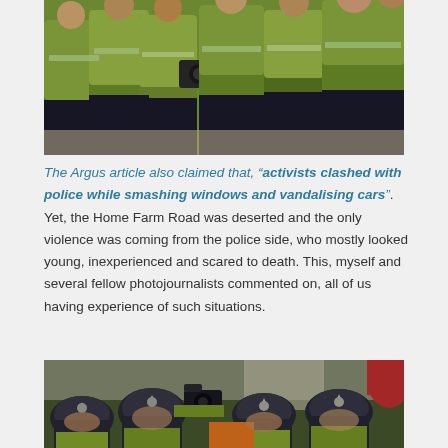[Figure (photo): Police officers in high-visibility yellow jackets crowding together, some appearing to hold cameras or equipment, taken outdoors on a sunny day with brick paving visible.]
The Argus article also claimed that, “activists clashed with police while smashing windows and vandalising cars”. Yet, the Home Farm Road was deserted and the only violence was coming from the police side, who mostly looked young, inexperienced and scared to death. This, myself and several fellow photojournalists commented on, all of us having experience of such situations.
[Figure (photo): Police officers in traditional British helmets and high-visibility jackets, with one officer holding up a camera/recording device. A red object is visible in the background on the right side.]